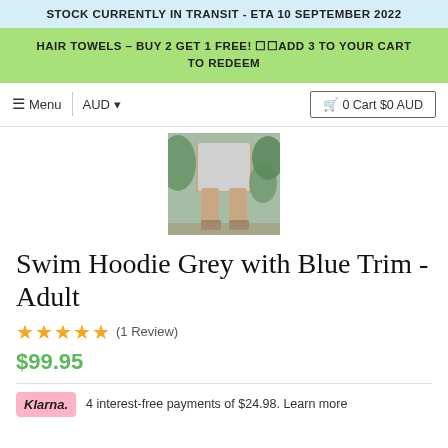STOCK CURRENTLY IN TRANSIT - ETA 10 SEPTEMBER 2022
HAIR TOWELS – BUY 2 GET 1 FREE! ☐☐ADD 3 TO YOUR CART TO REDEEM
Menu  AUD  0 Cart $0 AUD
[Figure (photo): Product photo showing lower body of a person wearing a grey hoodie/skirt garment, outdoors with plants in background]
Swim Hoodie Grey with Blue Trim - Adult
★★★★★ (1 Review)
$99.95
Klarna. 4 interest-free payments of $24.98. Learn more